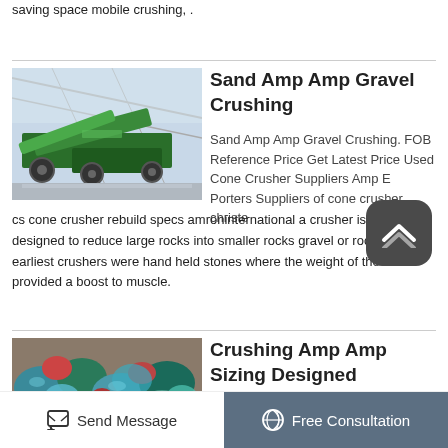saving space mobile crushing, .
[Figure (photo): Industrial green mobile crushing/screening machine inside a large warehouse or factory with steel roof structure]
Sand Amp Amp Gravel Crushing
Sand Amp Amp Gravel Crushing. FOB Reference Price Get Latest Price Used Cone Crusher Suppliers Amp E Porters Suppliers of cone crusher christe cs cone crusher rebuild specs amroninternational a crusher is a mac designed to reduce large rocks into smaller rocks gravel or rock dust the earliest crushers were hand held stones where the weight of the stone provided a boost to muscle.
[Figure (photo): Colorful crushed rocks and minerals, blue-green and red stones]
Crushing Amp Amp Sizing Designed Processes
Send Message    Free Consultation